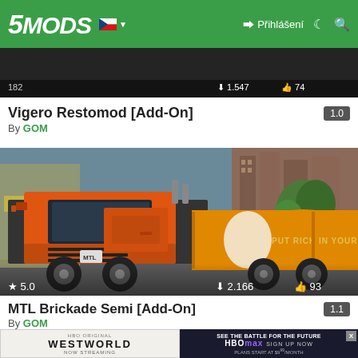5MODS | Přihlášení
[Figure (screenshot): Partial view of a dark vehicle thumbnail at top with download count 1,547 and like count 74]
Vigero Restomod [Add-On] 1.0
By GOM
[Figure (screenshot): GTA game screenshot showing an orange MTL semi truck with tanker trailer on a city street. Text on tanker reads PUT RICH IN YOUR TANK. Star rating 5.0, downloads 2,166, likes 93.]
MTL Brickade Semi [Add-On] 1.1
By GOM
[Figure (screenshot): Advertisement overlay: left side shows HBO Original Westworld Now Streaming on light background; right side shows See the Battle for the Future HBOmax Sign Up Now Plans Start at $9/month on dark background. X close button visible.]